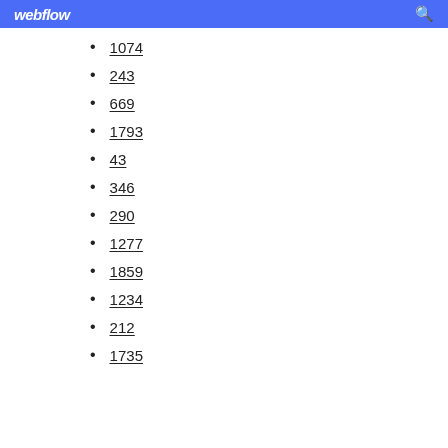webflow
1074
243
669
1793
43
346
290
1277
1859
1234
212
1735